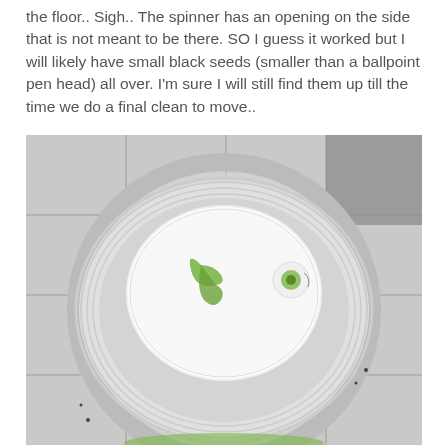the floor.. Sigh.. The spinner has an opening on the side that is not meant to be there. SO I guess it worked but I will likely have small black seeds (smaller than a ballpoint pen head) all over. I'm sure I will still find them up till the time we do a final clean to move..
[Figure (photo): A salad spinner with a white lid and green handle/mechanism on top, sitting on a light gray tiled floor. The spinner is circular with a clear/translucent bowl and white ribbed outer casing.]